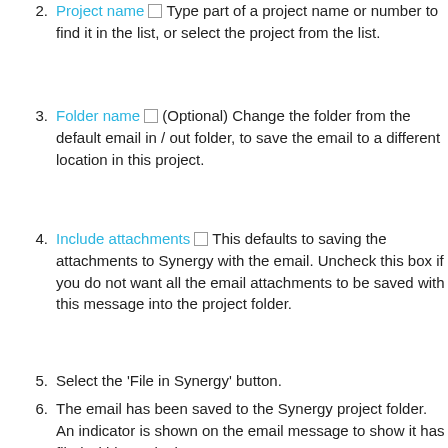Project name [checkbox] Type part of a project name or number to find it in the list, or select the project from the list.
Folder name [checkbox] (Optional) Change the folder from the default email in / out folder, to save the email to a different location in this project.
Include attachments [checkbox] This defaults to saving the attachments to Synergy with the email. Uncheck this box if you do not want all the email attachments to be saved with this message into the project folder.
Select the 'File in Synergy' button.
The email has been saved to the Synergy project folder. An indicator is shown on the email message to show it has filed within Outlook.